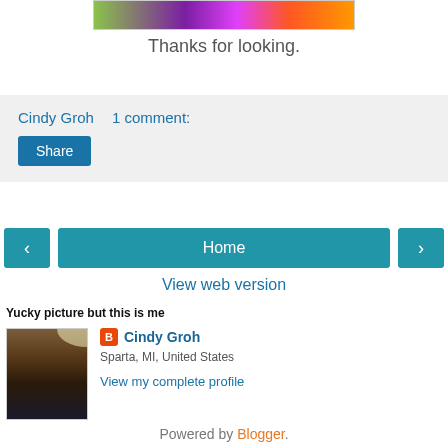[Figure (photo): Partial image at top with colorful decorative elements]
Thanks for looking.
Cindy Groh  1 comment:
Share
‹  Home  ›
View web version
Yucky picture but this is me
[Figure (photo): Profile photo of Cindy Groh]
Cindy Groh
Sparta, MI, United States
View my complete profile
Powered by Blogger.